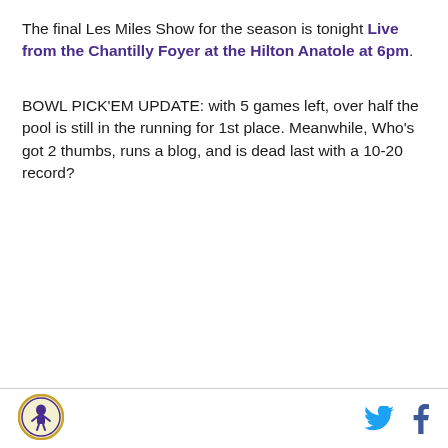The final Les Miles Show for the season is tonight Live from the Chantilly Foyer at the Hilton Anatole at 6pm.
BOWL PICK'EM UPDATE: with 5 games left, over half the pool is still in the running for 1st place. Meanwhile, Who's got 2 thumbs, runs a blog, and is dead last with a 10-20 record?
[Figure (logo): Circular logo with an illustrated figure inside, gold and purple border]